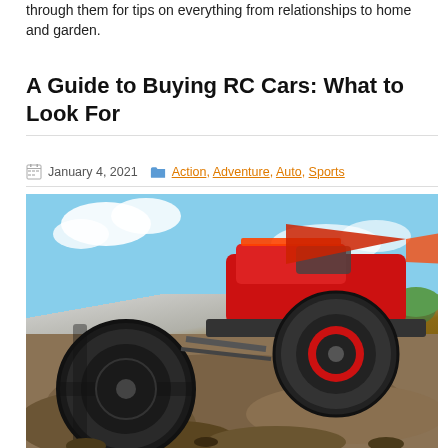through them for tips on everything from relationships to home and garden.
A Guide to Buying RC Cars: What to Look For
January 4, 2021   Action, Adventure, Auto, Sports
[Figure (photo): Close-up photo of a red RC crawler truck with large knobby tires climbing over dirt and rocks, with a blue sky and clouds in the background.]